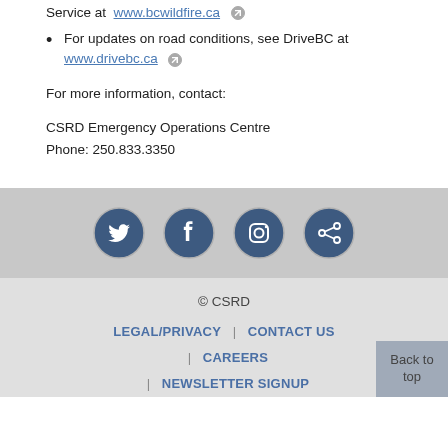Service at  www.bcwildfire.ca
For updates on road conditions, see DriveBC at www.drivebc.ca
For more information, contact:
CSRD Emergency Operations Centre
Phone: 250.833.3350
[Figure (infographic): Social media icons: Twitter, Facebook, Instagram, Share — circular dark blue buttons on a grey bar]
© CSRD
LEGAL/PRIVACY | CONTACT US | CAREERS | NEWSLETTER SIGNUP
Back to top